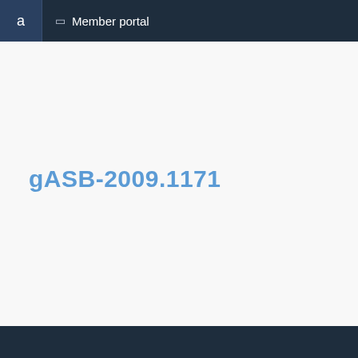a  Member portal
gASB-2009.1171